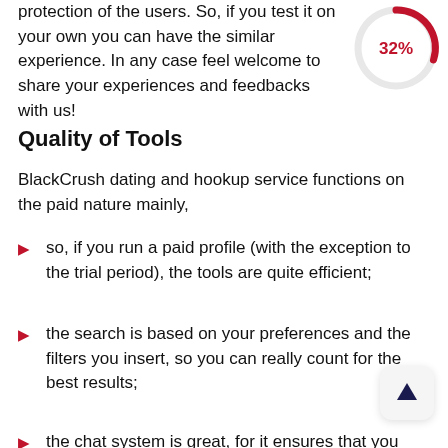protection of the users. So, if you test it on your own you can have the similar experience. In any case feel welcome to share your experiences and feedbacks with us!
[Figure (donut-chart): Partial donut/arc showing 32% in red/pink color]
Quality of Tools
BlackCrush dating and hookup service functions on the paid nature mainly,
so, if you run a paid profile (with the exception to the trial period), the tools are quite efficient;
the search is based on your preferences and the filters you insert, so you can really count for the best results;
the chat system is great, for it ensures that you